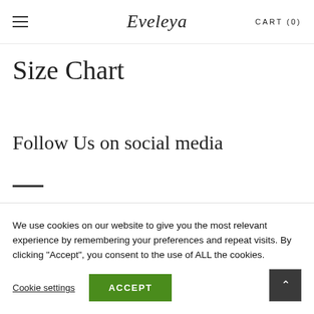≡  Eveleya  CART (0)
Size Chart
Follow Us on social media
We use cookies on our website to give you the most relevant experience by remembering your preferences and repeat visits. By clicking "Accept", you consent to the use of ALL the cookies.
Cookie settings  ACCEPT